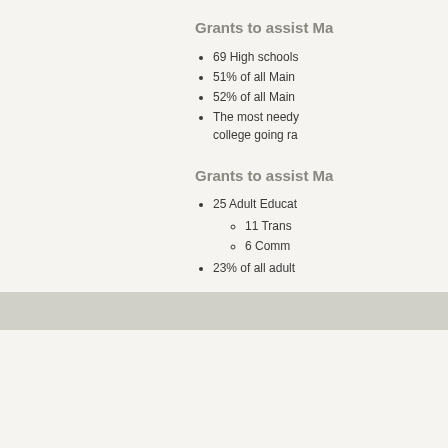Grants to assist Ma
69 High schools
51% of all Main
52% of all Main
The most needy college going ra
Grants to assist Ma
25 Adult Educat
11 Trans
6 Comm
23% of all adult
For more about MELMA